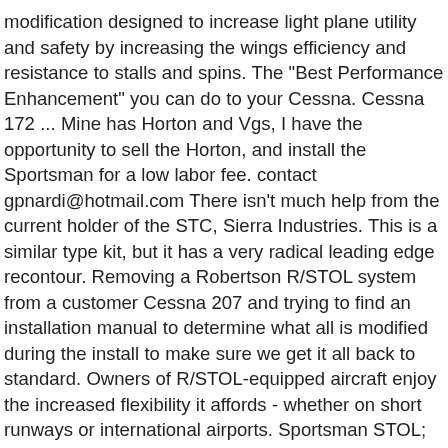modification designed to increase light plane utility and safety by increasing the wings efficiency and resistance to stalls and spins. The "Best Performance Enhancement" you can do to your Cessna. Cessna 172 ... Mine has Horton and Vgs, I have the opportunity to sell the Horton, and install the Sportsman for a low labor fee. contact gpnardi@hotmail.com There isn't much help from the current holder of the STC, Sierra Industries. This is a similar type kit, but it has a very radical leading edge recontour. Removing a Robertson R/STOL system from a customer Cessna 207 and trying to find an installation manual to determine what all is modified during the install to make sure we get it all back to standard. Owners of R/STOL-equipped aircraft enjoy the increased flexibility it affords - whether on short runways or international airports. Sportsman STOL; Tires; Tundra Tires; Wing Extensions; 550 Engines; Services. The Sportsman STOL is not just a lip on the bottom, but is a re-engineered airfoil. New Products. As for the Sportsman STOL it made a dramatic difference after I removed the Horton , also